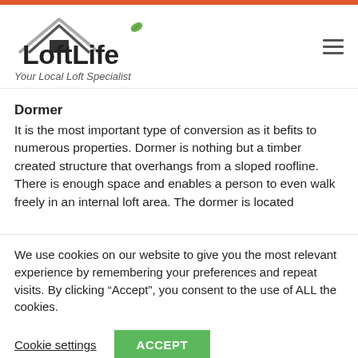[Figure (logo): LoftLife logo with house roof outline and leaf icon, tagline: Your Local Loft Specialist]
Dormer
It is the most important type of conversion as it befits to numerous properties. Dormer is nothing but a timber created structure that overhangs from a sloped roofline. There is enough space and enables a person to even walk freely in an internal loft area. The dormer is located
We use cookies on our website to give you the most relevant experience by remembering your preferences and repeat visits. By clicking “Accept”, you consent to the use of ALL the cookies.
Cookie settings  ACCEPT